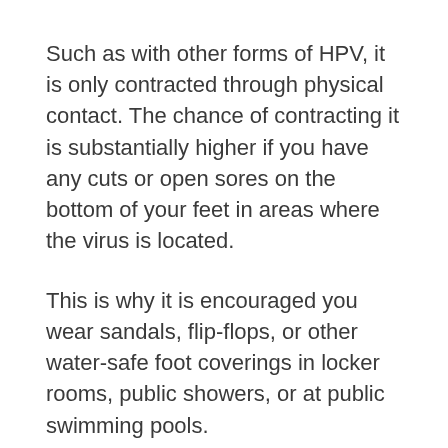Such as with other forms of HPV, it is only contracted through physical contact. The chance of contracting it is substantially higher if you have any cuts or open sores on the bottom of your feet in areas where the virus is located.
This is why it is encouraged you wear sandals, flip-flops, or other water-safe foot coverings in locker rooms, public showers, or at public swimming pools.
It’s also a big factor in why children are more likely to suffer from the occasional bout of plantar warts as they’re more likely to run around inside and outside barefooted.